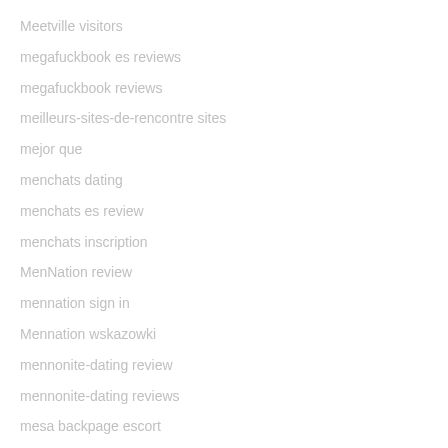Meetville visitors
megafuckbook es reviews
megafuckbook reviews
meilleurs-sites-de-rencontre sites
mejor que
menchats dating
menchats es review
menchats inscription
MenNation review
mennation sign in
Mennation wskazowki
mennonite-dating review
mennonite-dating reviews
mesa backpage escort